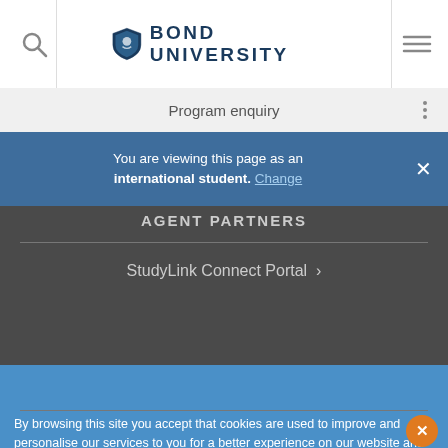Bond University
Program enquiry
You are viewing this page as an international student. Change
AGENT PARTNERS
StudyLink Connect Portal ›
CONNECT
By browsing this site you accept that cookies are used to improve and personalise our services to you for a better experience on our website and for social activity. If you continue, we will assume that you agree to our use of cookies statement.